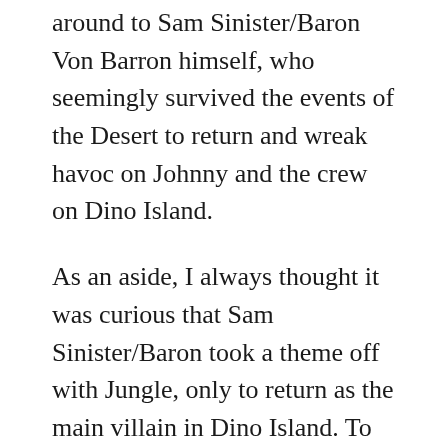around to Sam Sinister/Baron Von Barron himself, who seemingly survived the events of the Desert to return and wreak havoc on Johnny and the crew on Dino Island.
As an aside, I always thought it was curious that Sam Sinister/Baron took a theme off with Jungle, only to return as the main villain in Dino Island. To me, there’s definitely some fodder here for a fan-created narrative or story. Perhaps he was reeling financially from his defeat in the Desert and had to focus on securing more money to finance the Dino Island expedition. Maybe he suffered an injury and instead, hired Senor Palomar to do his bidding in the Jungle. Nevertheless, as you’ll see in the final part of this Adventurers Throwback series,